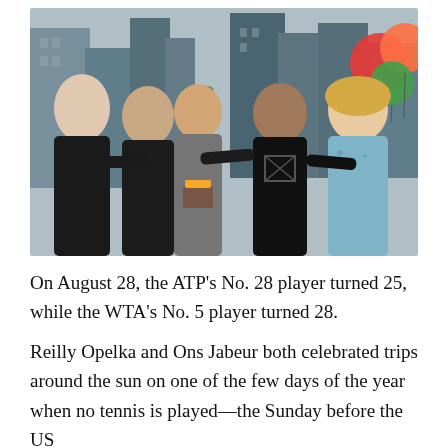[Figure (photo): Group photo of five people standing together outdoors with a city skyline in the background. The person in the center (wearing a green cap and gray shirt) is holding a birthday cake with the number 28. Colorful balloons (orange, red, green) are visible on the right side. The group appears to be celebrating a birthday.]
On August 28, the ATP's No. 28 player turned 25, while the WTA's No. 5 player turned 28.
Reilly Opelka and Ons Jabeur both celebrated trips around the sun on one of the few days of the year when no tennis is played—the Sunday before the US Open when no play is scheduled.